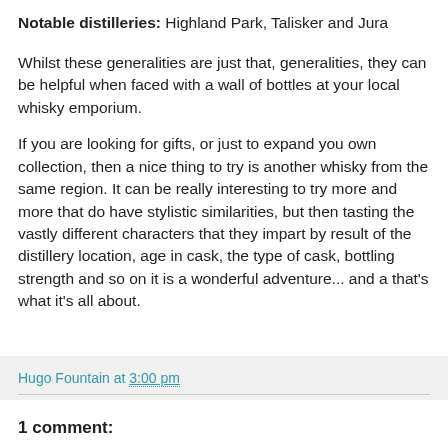Notable distilleries: Highland Park, Talisker and Jura
Whilst these generalities are just that, generalities, they can be helpful when faced with a wall of bottles at your local whisky emporium.
If you are looking for gifts, or just to expand you own collection, then a nice thing to try is another whisky from the same region. It can be really interesting to try more and more that do have stylistic similarities, but then tasting the vastly different characters that they impart by result of the distillery location, age in cask, the type of cask, bottling strength and so on it is a wonderful adventure... and a that's what it's all about.
Hugo Fountain at 3:00 pm
1 comment: